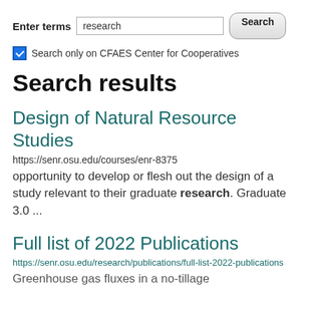Enter terms [search input] [Search button]
☑ Search only on CFAES Center for Cooperatives
Search results
Design of Natural Resource Studies
https://senr.osu.edu/courses/enr-8375
opportunity to develop or flesh out the design of a study relevant to their graduate research. Graduate 3.0 ...
Full list of 2022 Publications
https://senr.osu.edu/research/publications/full-list-2022-publications
Greenhouse gas fluxes in a no-tillage